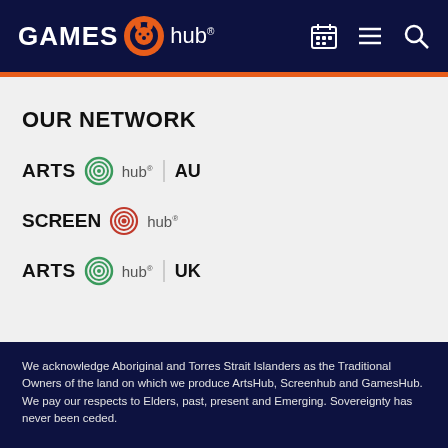GAMES hub®
OUR NETWORK
[Figure (logo): ArtsHub AU logo – ARTS with circular signal icon, hub, vertical bar divider, AU in bold]
[Figure (logo): ScreenHub logo – SCREEN with red circular signal icon, hub]
[Figure (logo): ArtsHub UK logo – ARTS with circular signal icon, hub, vertical bar divider, UK in bold]
We acknowledge Aboriginal and Torres Strait Islanders as the Traditional Owners of the land on which we produce ArtsHub, Screenhub and GamesHub. We pay our respects to Elders, past, present and Emerging. Sovereignty has never been ceded.